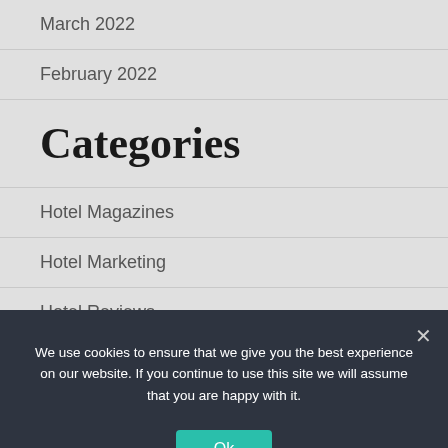March 2022
February 2022
Categories
Hotel Magazines
Hotel Marketing
Hotel Reviews
Hotels
We use cookies to ensure that we give you the best experience on our website. If you continue to use this site we will assume that you are happy with it.
Ok